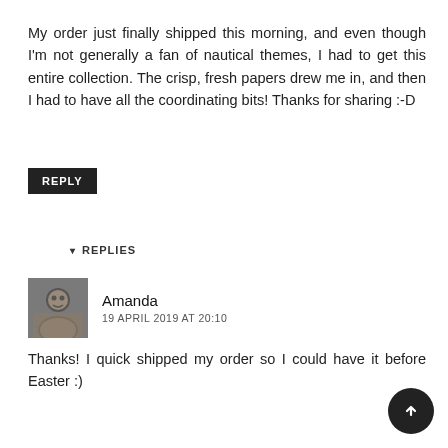My order just finally shipped this morning, and even though I'm not generally a fan of nautical themes, I had to get this entire collection. The crisp, fresh papers drew me in, and then I had to have all the coordinating bits! Thanks for sharing :-D
REPLY
▾ REPLIES
Amanda
19 APRIL 2019 AT 20:10
Thanks! I quick shipped my order so I could have it before Easter :)